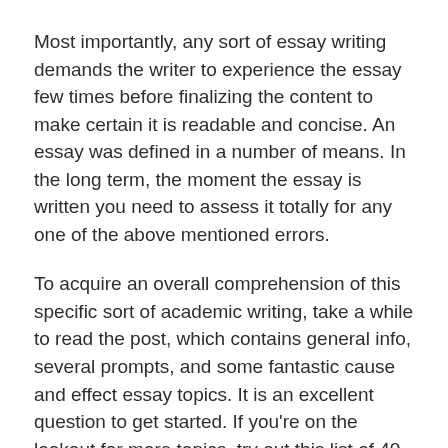Most importantly, any sort of essay writing demands the writer to experience the essay few times before finalizing the content to make certain it is readable and concise. An essay was defined in a number of means. In the long term, the moment the essay is written you need to assess it totally for any one of the above mentioned errors.
To acquire an overall comprehension of this specific sort of academic writing, take a while to read the post, which contains general info, several prompts, and some fantastic cause and effect essay topics. It is an excellent question to get started. If you're on the lookout for more topics, try out this list of 40 writing topics.
Even, in the previous two month almost there was not any rain. If would do little great that you be the very best chef on the planet and compose a resume for a job as an automobile mechanic. Adhesiveness is, in overview, insurance to [cursor] ake certain that you're likely to really get the job done accurately,